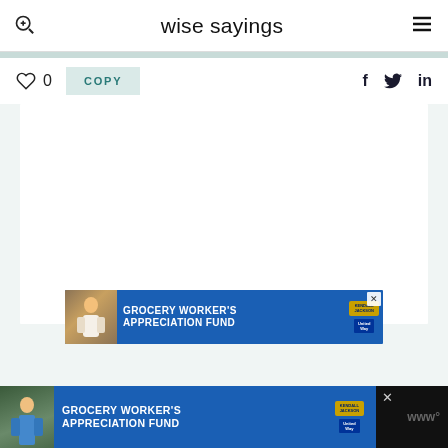wise sayings
0  COPY   f  twitter  in
[Figure (screenshot): Advertisement banner for Grocery Worker's Appreciation Fund featuring Kendall Jackson and United Way logos, blue background with grocery worker image]
[Figure (screenshot): Bottom sticky advertisement banner for Grocery Worker's Appreciation Fund, dark background with blue ad content, Kendall Jackson and United Way logos]